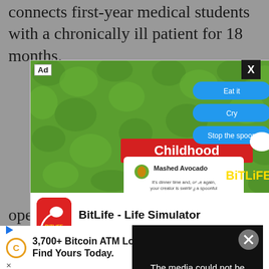connects first-year medical students with a chronically ill patient for 18 months.
[Figure (screenshot): BitLife - Life Simulator advertisement popup showing a game screenshot with mashed avocado childhood scenario, blue option buttons (Eat it, Cry, Stop the spoon), BitLife logo, app icon, and Install button]
[Figure (screenshot): Video error overlay: 'The media could not be loaded, either because the server or network failed or because the format is not supported.']
opened in 1924.
[Figure (screenshot): Bottom banner advertisement: 3,700+ Bitcoin ATM Locations Nationwide! Find Yours Today. with Coinme branding and blue arrow diamond logo]